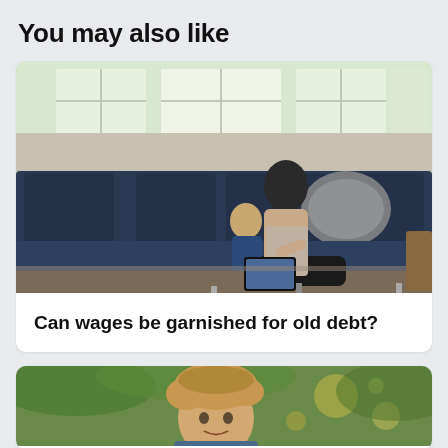You may also like
[Figure (photo): A woman and a child sitting on a dark blue sofa, looking at a tablet together. Bright windows visible in the background with cushions on the couch.]
Can wages be garnished for old debt?
[Figure (photo): A man with wavy hair outdoors with green foliage and bokeh lights in the background.]